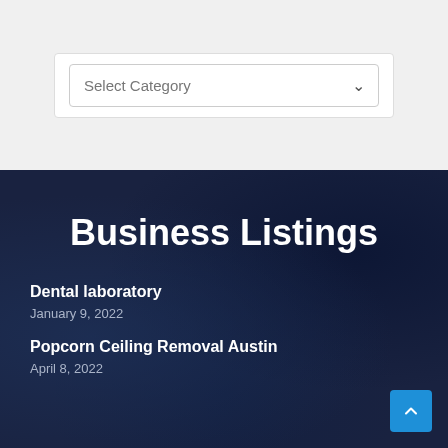Select Category
Business Listings
Dental laboratory
January 9, 2022
Popcorn Ceiling Removal Austin
April 8, 2022